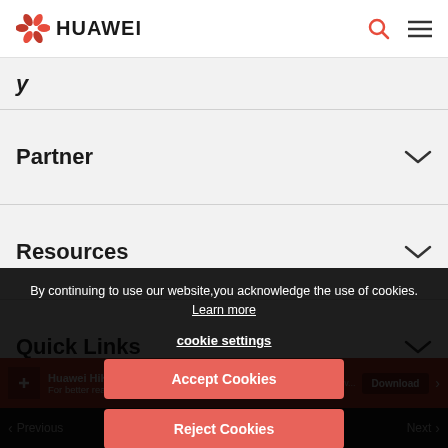HUAWEI
Partner
Resources
Quick Links
Huawei
By continuing to use our website,you acknowledge the use of cookies. Learn more
cookie settings
Accept Cookies
Reject Cookies
< Previous
Next >
Huawei HiKnow A... For better reading experience
Download